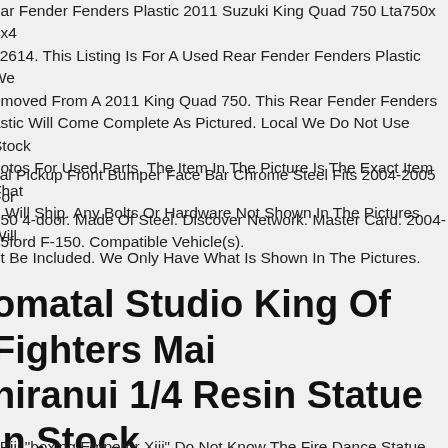ear Fender Fenders Plastic 2011 Suzuki King Quad 750 Lta750x 4x4 i 2614. This Listing Is For A Used Rear Fender Fenders Plastic We emoved From A 2011 King Quad 750. This Rear Fender Fenders astic Will Come Complete As Pictured. Local We Do Not Use Stock hotos For Used Parts, The Item In The Picture Is The Exact Item That e Will Ship. Any Bolts Or Hardware Not Shown In The Pictures Will ot Be Included. We Only Have What Is Shown In The Pictures.
cal Pickup Front Bumper Face Bar Chrome Steel Fits 2004-2005 For 150 4-door. Made Of Steel. Discover Network. Master Card. 2004- 05ford F-150. Compatible Vehicle(s).
omatal Studio King Of Fighters Mai hiranui 1/4 Resin Statue In Stock
i Piji "boxing Emperor Xiii" Do Not Know The Fire Dance Statue.